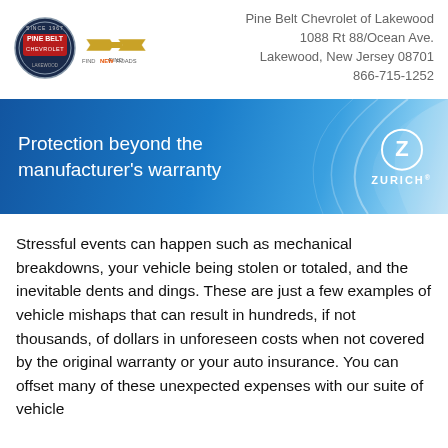[Figure (logo): Pine Belt dealership logo (circular badge with PINE BELT text) and Chevrolet bowtie logo with FIND NEW ROADS tagline]
Pine Belt Chevrolet of Lakewood
1088 Rt 88/Ocean Ave.
Lakewood, New Jersey 08701
866-715-1252
[Figure (illustration): Blue gradient banner with sweeping arc design and Zurich logo (Z in circle) with ZURICH text, reading: Protection beyond the manufacturer's warranty]
Stressful events can happen such as mechanical breakdowns, your vehicle being stolen or totaled, and the inevitable dents and dings. These are just a few examples of vehicle mishaps that can result in hundreds, if not thousands, of dollars in unforeseen costs when not covered by the original warranty or your auto insurance. You can offset many of these unexpected expenses with our suite of vehicle